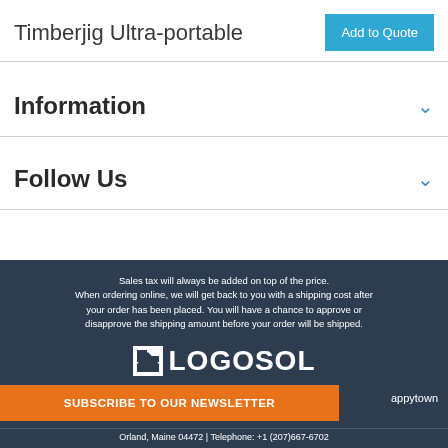Timberjig Ultra-portable
Information
Follow Us
Sales tax will always be added on top of the price. When ordering online, we will get back to you with a shipping cost after your order has been placed. You will have a chance to approve or disapprove the shipping amount before your order will be shipped.
[Figure (logo): Logosol company logo with house icon and bold LOGOSOL text in white on dark background]
SUBSCRIBE TO OUR NEWSLETTER
appytown Orland, Maine 04472 | Telephone: +1 (207)667-6702